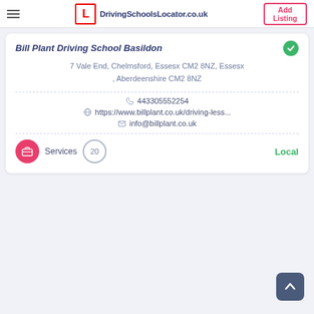DrivingSchoolsLocator.co.uk | Add Listing
Bill Plant Driving School Basildon
7 Vale End, Chelmsford, Essesx CM2 8NZ, Essesx , Aberdeenshire CM2 8NZ
443305552254
https://www.billplant.co.uk/driving-less...
info@billplant.co.uk
Services  20  Local